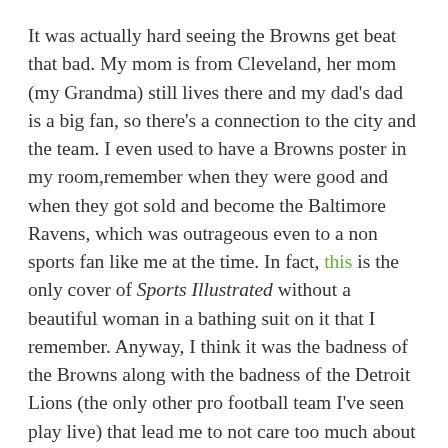It was actually hard seeing the Browns get beat that bad. My mom is from Cleveland, her mom (my Grandma) still lives there and my dad's dad is a big fan, so there's a connection to the city and the team. I even used to have a Browns poster in my room, remember when they were good and when they got sold and become the Baltimore Ravens, which was outrageous even to a non sports fan like me at the time. In fact, this is the only cover of Sports Illustrated without a beautiful woman in a bathing suit on it that I remember. Anyway, I think it was the badness of the Browns along with the badness of the Detroit Lions (the only other pro football team I've seen play live) that lead me to not care too much about football.
Years later I got into the sport after getting a copy of a few-years-old Madden game for PS2 in college and playing as the Steelers because my buddy Chad was a huge fan and was always talking about them. It was a good year for football because the Steelers were just